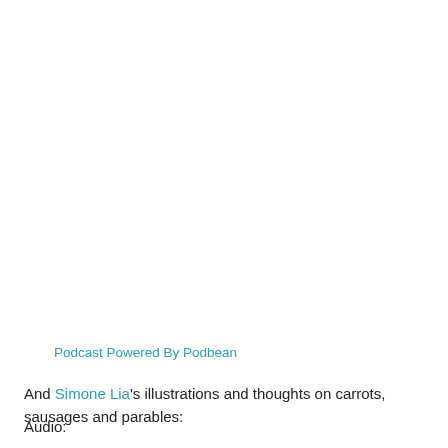Podcast Powered By Podbean
And Simone Lia's illustrations and thoughts on carrots, sausages and parables:
Audio: